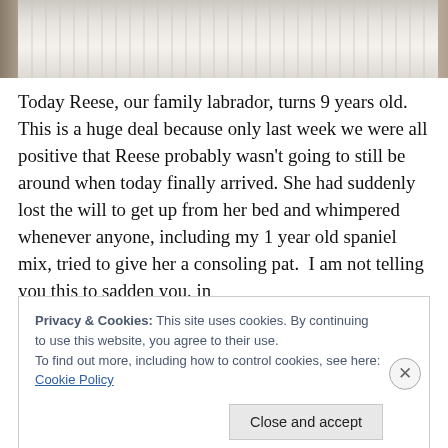[Figure (photo): Close-up photo of a white ribbed ceramic or paper cup, partially visible at the top of the page, with a warm brown/tan background.]
Today Reese, our family labrador, turns 9 years old. This is a huge deal because only last week we were all positive that Reese probably wasn't going to still be around when today finally arrived. She had suddenly lost the will to get up from her bed and whimpered whenever anyone, including my 1 year old spaniel mix, tried to give her a consoling pat.  I am not telling you this to sadden you, in
Privacy & Cookies: This site uses cookies. By continuing to use this website, you agree to their use.
To find out more, including how to control cookies, see here: Cookie Policy
Close and accept